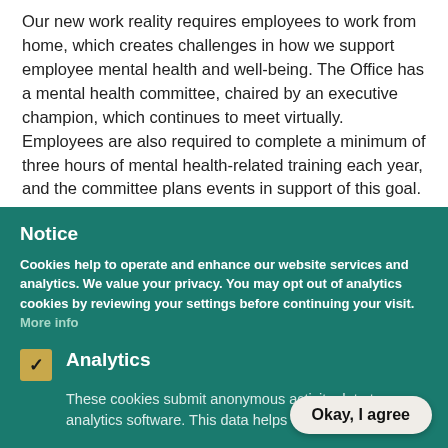Our new work reality requires employees to work from home, which creates challenges in how we support employee mental health and well-being. The Office has a mental health committee, chaired by an executive champion, which continues to meet virtually. Employees are also required to complete a minimum of three hours of mental health-related training each year, and the committee plans events in support of this goal.
Ensuring a healthy and supportive work environment is
Notice
Cookies help to operate and enhance our website services and analytics. We value your privacy. You may opt out of analytics cookies by reviewing your settings before continuing your visit. More info
Analytics
These cookies submit anonymous activity data to analytics software. This data helps u... website.